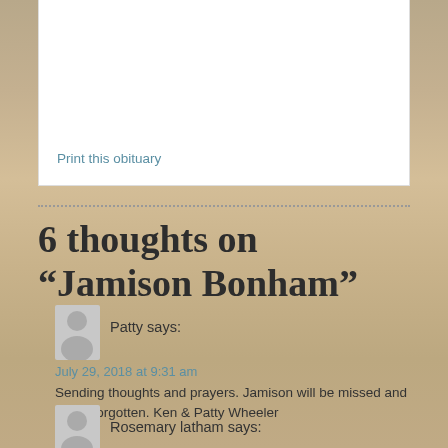Print this obituary
6 thoughts on “Jamison Bonham”
Patty says:
July 29, 2018 at 9:31 am
Sending thoughts and prayers. Jamison will be missed and never forgotten. Ken & Patty Wheeler
Rosemary latham says: